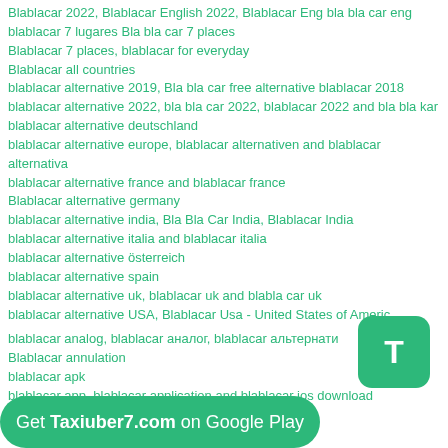Blablacar 2022, Blablacar English 2022, Blablacar Eng bla bla car eng
blablacar 7 lugares Bla bla car 7 places
Blablacar 7 places, blablacar for everyday
Blablacar all countries
blablacar alternative 2019, Bla bla car free alternative blablacar 2018
blablacar alternative 2022, bla bla car 2022, blablacar 2022 and bla bla kar
blablacar alternative deutschland
blablacar alternative europe, blablacar alternativen and blablacar alternativa
blablacar alternative france and blablacar france
Blablacar alternative germany
blablacar alternative india, Bla Bla Car India, Blablacar India
blablacar alternative italia and blablacar italia
blablacar alternative österreich
blablacar alternative spain
blablacar alternative uk, blablacar uk and blabla car uk
blablacar alternative USA, Blablacar Usa - United States of America
blablacar analog, blablacar аналог, blablacar альтернатив
Blablacar annulation
blablacar apk
blablacar app, blablacar application and blablacar ios download